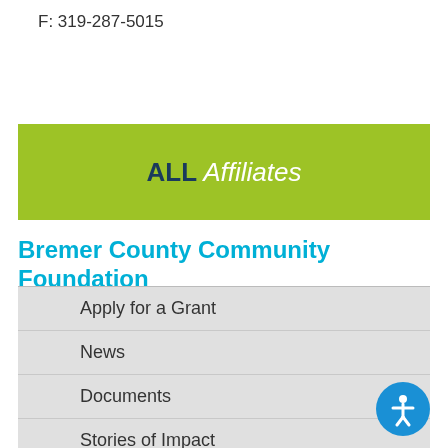F: 319-287-5015
[Figure (logo): Green banner with 'ALL Affiliates' text where ALL is bold dark navy and Affiliates is white italic]
Bremer County Community Foundation
Apply for a Grant
News
Documents
Stories of Impact
Contact us